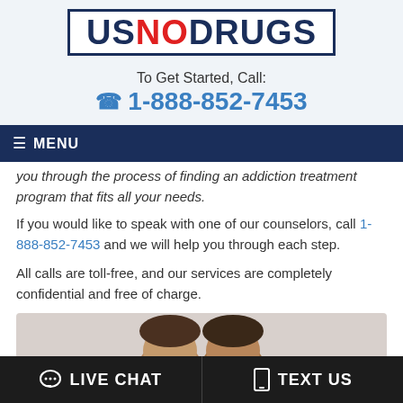USNODRUGS
To Get Started, Call: 1-888-852-7453
☰ MENU
you through the process of finding an addiction treatment program that fits all your needs.
If you would like to speak with one of our counselors, call 1-888-852-7453 and we will help you through each step.
All calls are toll-free, and our services are completely confidential and free of charge.
[Figure (photo): Partial view of two people's heads, cropped at bottom of page]
LIVE CHAT   TEXT US